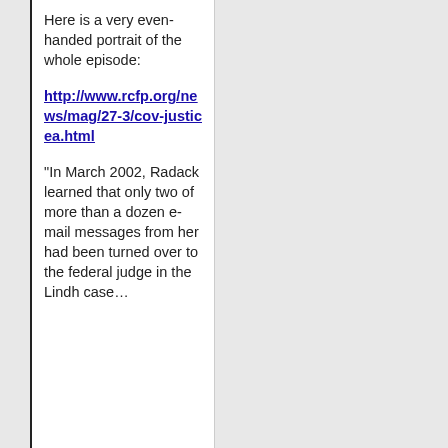Here is a very even-handed portrait of the whole episode:
http://www.rcfp.org/news/mag/27-3/cov-justicea.html
“In March 2002, Radack learned that only two of more than a dozen e-mail messages from her had been turned over to the federal judge in the Lindh case…